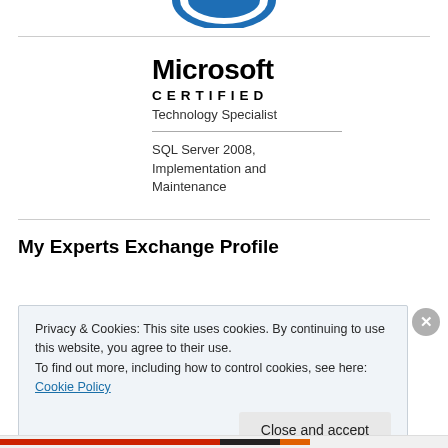[Figure (logo): Microsoft Certified logo mark (blue circular emblem, partially cropped at top)]
Microsoft
CERTIFIED
Technology Specialist
SQL Server 2008, Implementation and Maintenance
My Experts Exchange Profile
Privacy & Cookies: This site uses cookies. By continuing to use this website, you agree to their use.
To find out more, including how to control cookies, see here: Cookie Policy